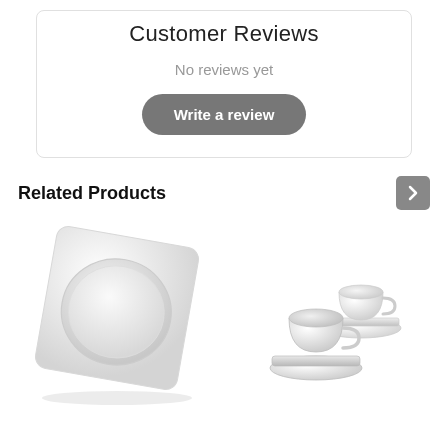Customer Reviews
No reviews yet
Write a review
Related Products
[Figure (photo): White square ceramic plate with circular inset]
[Figure (photo): Two white ceramic espresso cups with saucers]